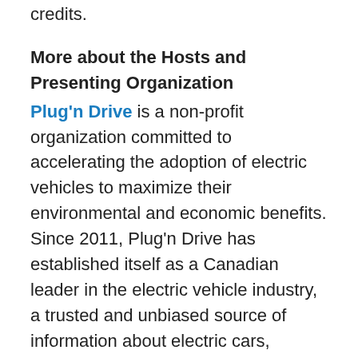credits.
More about the Hosts and Presenting Organization
Plug'n Drive is a non-profit organization committed to accelerating the adoption of electric vehicles to maximize their environmental and economic benefits. Since 2011, Plug'n Drive has established itself as a Canadian leader in the electric vehicle industry, a trusted and unbiased source of information about electric cars, charging stations and the electricity sector.
The Burlington Sustainable Development Committee is made up of volunteer citizens appointed by City Council to advise them on issues related to sustainable development.
Running an environmentally-friendly library is a top priority for the Burlington Public Library. They further